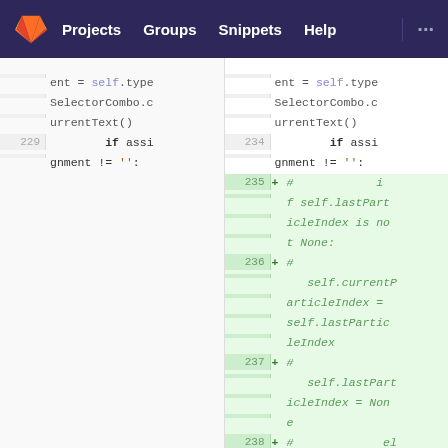GitLab navigation: Projects, Groups, Snippets, Help
[Figure (screenshot): GitLab code diff view showing two panels side by side. Left panel shows original code (lines 229) with 'ent = self.type SelectorCombo.currentText()' and 'if assignment != '':'. Right panel shows modified code (lines 234-238) with same code plus added lines 235-238 showing commented-out code for lastParticleIndex handling.]